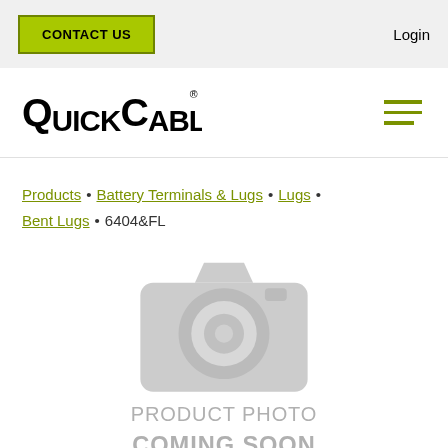CONTACT US | Login
[Figure (logo): QuickCable logo in black bold text with registered trademark symbol]
Products • Battery Terminals & Lugs • Lugs • Bent Lugs • 6404&FL
[Figure (photo): Product photo placeholder: grey camera icon with text 'PRODUCT PHOTO COMING SOON']